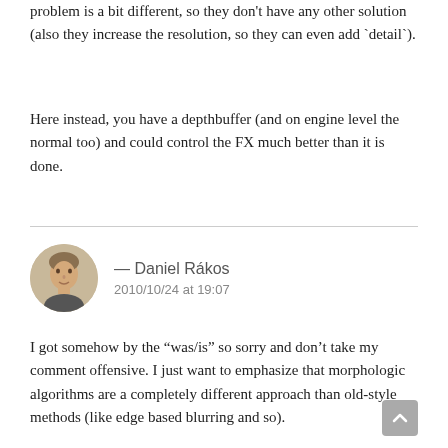problem is a bit different, so they don't have any other solution (also they increase the resolution, so they can even add `detail`).
Here instead, you have a depthbuffer (and on engine level the normal too) and could control the FX much better than it is done.
— Daniel Rákos
2010/10/24 at 19:07
I got somehow by the “was/is” so sorry and don’t take my comment offensive. I just want to emphasize that morphologic algorithms are a completely different approach than old-style methods (like edge based blurring and so).